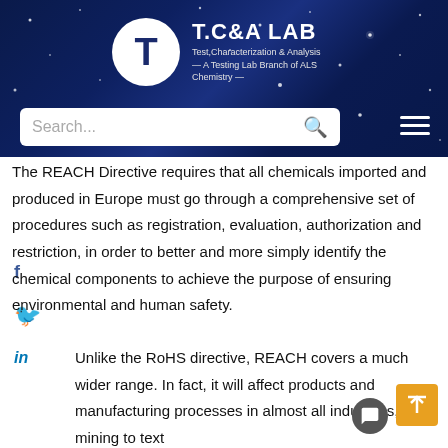[Figure (logo): T.C&A LAB logo — Test, Characterization & Analysis — A Testing Lab Branch of ALS Chemistry, white circle with T letter on dark blue starry background]
The REACH Directive requires that all chemicals imported and produced in Europe must go through a comprehensive set of procedures such as registration, evaluation, authorization and restriction, in order to better and more simply identify the chemical components to achieve the purpose of ensuring environmental and human safety.
Unlike the RoHS directive, REACH covers a much wider range. In fact, it will affect products and manufacturing processes in almost all industries, from mining to text